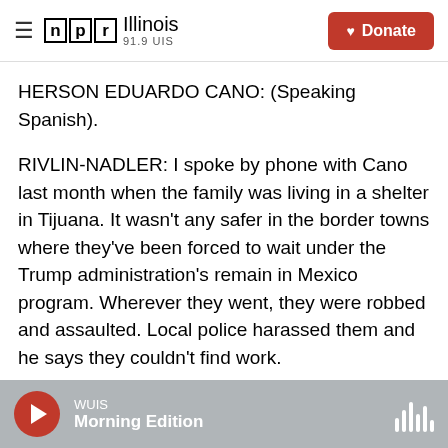NPR Illinois 91.9 UIS | Donate
HERSON EDUARDO CANO: (Speaking Spanish).
RIVLIN-NADLER: I spoke by phone with Cano last month when the family was living in a shelter in Tijuana. It wasn't any safer in the border towns where they've been forced to wait under the Trump administration's remain in Mexico program. Wherever they went, they were robbed and assaulted. Local police harassed them and he says they couldn't find work.
CANO: (Speaking Spanish).
WUIS Morning Edition